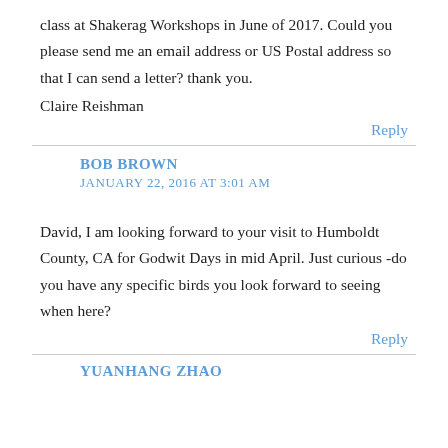class at Shakerag Workshops in June of 2017. Could you please send me an email address or US Postal address so that I can send a letter? thank you.
Claire Reishman
Reply
BOB BROWN
JANUARY 22, 2016 AT 3:01 AM
David, I am looking forward to your visit to Humboldt County, CA for Godwit Days in mid April. Just curious -do you have any specific birds you look forward to seeing when here?
Reply
YUANHANG ZHAO